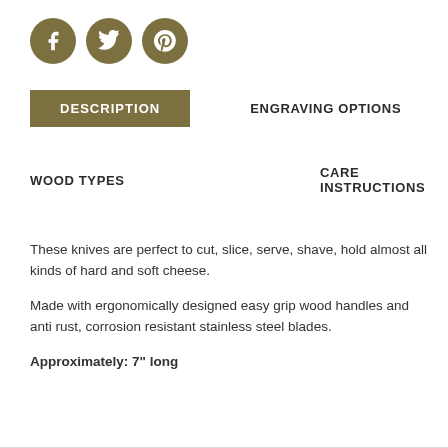[Figure (illustration): Three circular social media icon buttons (Facebook, Twitter, Pinterest) in olive/dark gold color]
DESCRIPTION
ENGRAVING OPTIONS
WOOD TYPES
CARE INSTRUCTIONS
These knives are perfect to cut, slice, serve, shave, hold almost all kinds of hard and soft cheese.
Made with ergonomically designed easy grip wood handles and anti rust, corrosion resistant stainless steel blades.
Approximately: 7" long